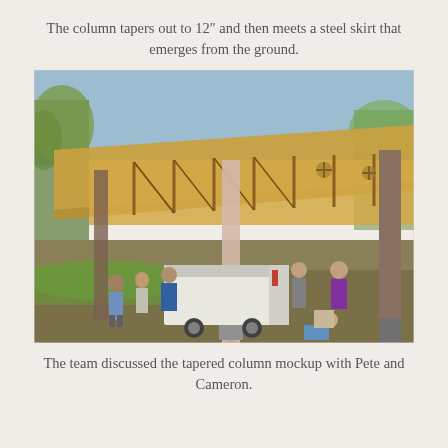The column tapers out to 12" and then meets a steel skirt that emerges from the ground.
[Figure (photo): A group of people standing and sitting under a large open-air wooden structure with exposed timber roof trusses. A tapered column mockup is visible in the foreground. A white trailer is parked nearby. Trees and grass are visible in the background.]
The team discussed the tapered column mockup with Pete and Cameron.